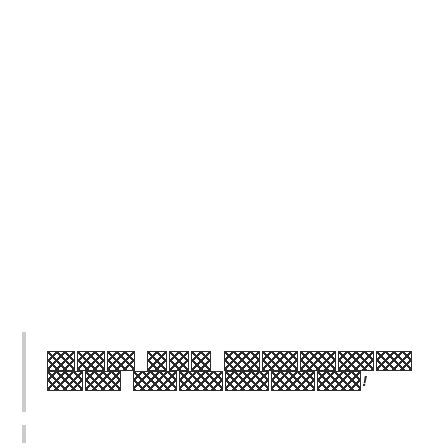[REDACTED] [REDACTED] [REDACTED REDACTED] [REDACTED REDACTED]!